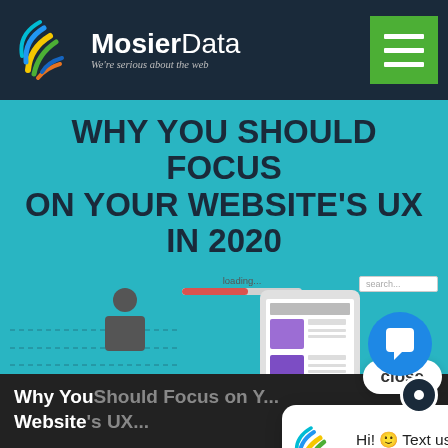[Figure (screenshot): MosierData website navigation bar with logo (colorful wifi/signal icon, MosierData text, tagline 'We're serious about the web') and green hamburger menu button on dark navy background]
WHY YOU SHOULD FOCUS ON YOUR WEBSITE'S UX IN 2020
[Figure (illustration): Teal background illustration showing UX design concept with a person using a smartphone displaying a webpage mockup, loading bar, gear icons, search box, dashed lines connecting UI elements, and a human figure icon]
Why You Should Focus on Your Website's UX...
[Figure (screenshot): Chat popup with 'close' label and MosierData logo icon, showing message: 'Hi! Text us here if you would like.']
Hi! 🙂 Text us here if you would like.
[Figure (illustration): Bottom teal section showing partial text: WHY E-COMMERCE SITES SHOULD TARGE with illustrated diverse people figures and chat icon button]